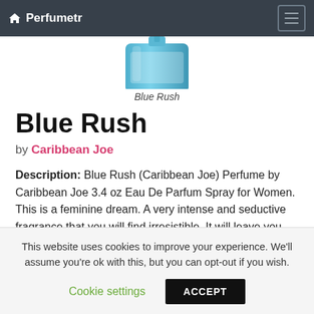Perfumetr
[Figure (photo): Partial view of Blue Rush perfume bottle (blue/teal colored bottle, cropped at top)]
Blue Rush
Blue Rush
by Caribbean Joe
Description: Blue Rush (Caribbean Joe) Perfume by Caribbean Joe 3.4 oz Eau De Parfum Spray for Women. This is a feminine dream. A very intense and seductive fragrance that you will find irresistible. It will leave you curious about its mystical ocean scent.
This website uses cookies to improve your experience. We'll assume you're ok with this, but you can opt-out if you wish.
Cookie settings  ACCEPT